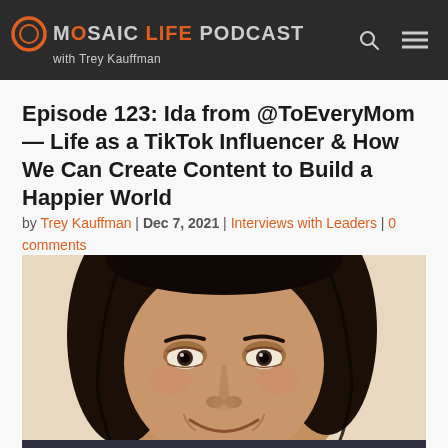MOSAIC LIFE PODCAST with Trey Kauffman
Episode 123: Ida from @ToEveryMom — Life as a TikTok Influencer & How We Can Create Content to Build a Happier World
by Trey Kauffman | Dec 7, 2021 | Interviews with Leaders | 0 comments
[Figure (photo): Close-up photo of a smiling woman with dark hair, appearing to be of Asian descent, looking upward with a warm expression]